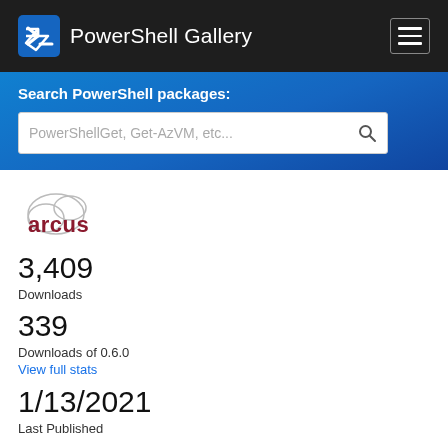PowerShell Gallery
Search PowerShell packages:
[Figure (logo): Arcus logo: cloud outline with 'arcus' text in dark red/maroon]
3,409
Downloads
339
Downloads of 0.6.0
View full stats
1/13/2021
Last Published
Info
Project Site